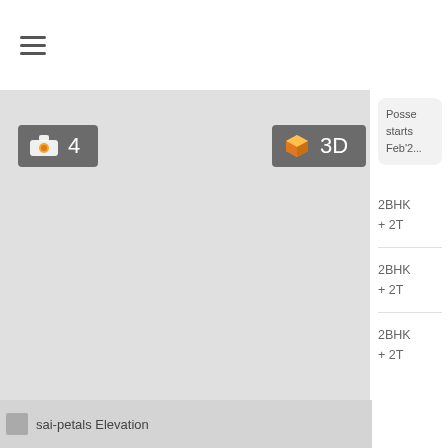[Figure (screenshot): Mobile app UI showing a real estate listing with a large grey property image area on the left, photo count badge showing camera icon and '4', a '3D' badge, and a right panel with possession info, 2BHK unit type listings, RERA ID text, and View Details link. Bottom shows a thumbnail strip with 'sai-petals Elevation' label.]
Posse starts Feb'2
2BHK + 2T
2BHK + 2T
2BHK + 2T
RERA ID: RERA NOT APP ...
View Details
sai-petals Elevation